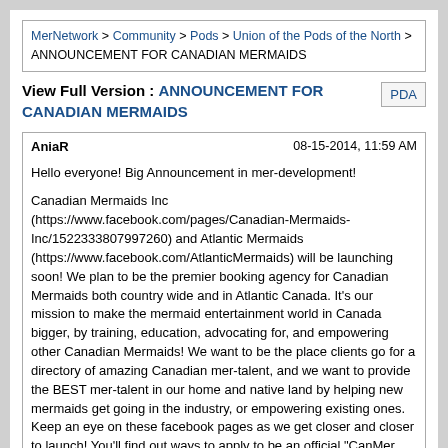MerNetwork > Community > Pods > Union of the Pods of the North > ANNOUNCEMENT FOR CANADIAN MERMAIDS
View Full Version : ANNOUNCEMENT FOR CANADIAN MERMAIDS
AniaR  08-15-2014, 11:59 AM
Hello everyone! Big Announcement in mer-development!

Canadian Mermaids Inc (https://www.facebook.com/pages/Canadian-Mermaids-Inc/1522333807997260) and Atlantic Mermaids (https://www.facebook.com/AtlanticMermaids) will be launching soon! We plan to be the premier booking agency for Canadian Mermaids both country wide and in Atlantic Canada. It's our mission to make the mermaid entertainment world in Canada bigger, by training, education, advocating for, and empowering other Canadian Mermaids! We want to be the place clients go for a directory of amazing Canadian mer-talent, and we want to provide the BEST mer-talent in our home and native land by helping new mermaids get going in the industry, or empowering existing ones. Keep an eye on these facebook pages as we get closer and closer to launch! You'll find out ways to apply to be an official "CanMer Affiliate" or "Atlantic Mermaid Affiliate" and have a variety of packages to choose from to help get your mermaid career into the waves, or build upon it!

These pages will also be a great place to keep track of all things mermaid in Canada, and follow the adventures of current Canadian Mermaids Inc and Atlantic Mermaids members.

Canadian Mermaids Inc is a registered Canadian-wide business, owned and operated by Raina the Halifax Mermaid and her merwrangler Sean Norman. Atlantic Mermaids is a subsidiary company and parent company to Halifax Mermaids (https://www.facebook.com/pages/Halifax-